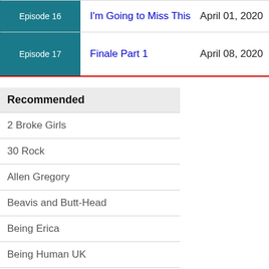| Episode | Title | Date |
| --- | --- | --- |
| Episode 16 | I'm Going to Miss This | April 01, 2020 |
| Episode 17 | Finale Part 1 | April 08, 2020 |
Recommended
2 Broke Girls
30 Rock
Allen Gregory
Beavis and Butt-Head
Being Erica
Being Human UK
Better with You